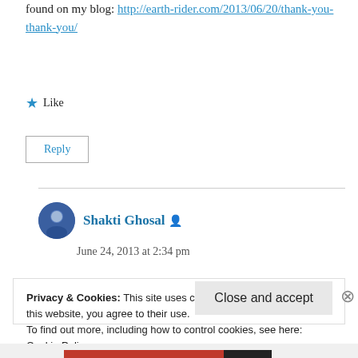found on my blog: http://earth-rider.com/2013/06/20/thank-you-thank-you/
★ Like
Reply
Shakti Ghosal
June 24, 2013 at 2:34 pm
Privacy & Cookies: This site uses cookies. By continuing to use this website, you agree to their use.
To find out more, including how to control cookies, see here: Cookie Policy
Close and accept